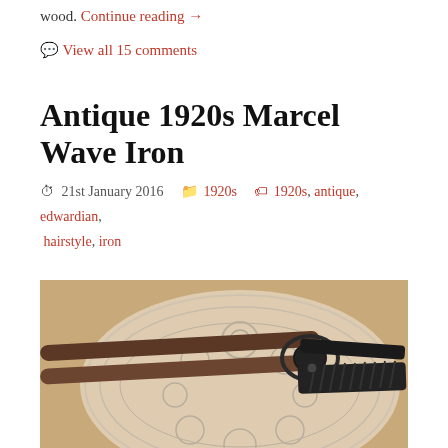wood. Continue reading →
View all 15 comments
Antique 1920s Marcel Wave Iron
21st January 2016   1920s   1920s, antique, edwardian, hairstyle, iron
[Figure (photo): An antique 1920s Marcel Wave Iron (hair curling iron) with dark metal tongs and wooden handles, resting on a white decorative lace doily on a wooden surface.]